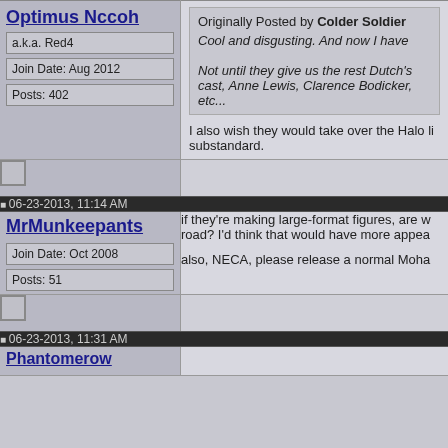a.k.a. Red4
Join Date: Aug 2012
Posts: 402
Originally Posted by Colder Soldier
Cool and disgusting. And now I have
Not until they give us the rest Dutch's cast, Anne Lewis, Clarence Bodicker, etc...
I also wish they would take over the Halo li substandard.
06-23-2013, 11:14 AM
MrMunkeepants
Join Date: Oct 2008
Posts: 51
if they're making large-format figures, are w road? I'd think that would have more appea
also, NECA, please release a normal Moha
06-23-2013, 11:31 AM
Phantomerow